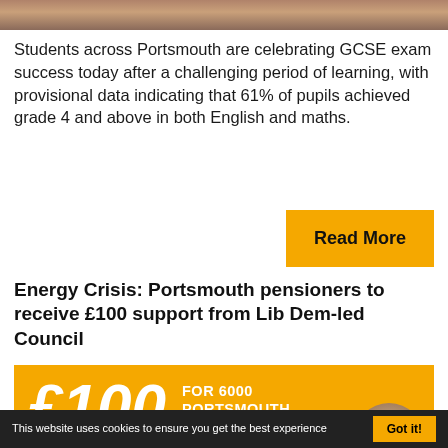[Figure (photo): Partial view of students celebrating, cropped at top of page]
Students across Portsmouth are celebrating GCSE exam success today after a challenging period of learning, with provisional data indicating that 61% of pupils achieved grade 4 and above in both English and maths.
Read More
Energy Crisis: Portsmouth pensioners to receive £100 support from Lib Dem-led Council
[Figure (infographic): Orange promotional banner showing £100 FOR 6000 PORTSMOUTH PENSIONERS with a photo of a person at the bottom right]
This website uses cookies to ensure you get the best experience